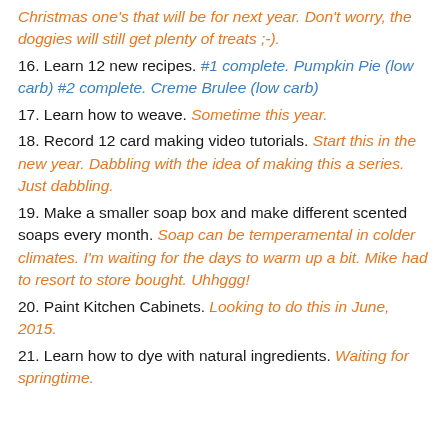(continuation) Christmas one's that will be for next year. Don't worry, the doggies will still get plenty of treats ;-).
16. Learn 12 new recipes. #1 complete. Pumpkin Pie (low carb) #2 complete. Creme Brulee (low carb)
17. Learn how to weave. Sometime this year.
18. Record 12 card making video tutorials. Start this in the new year. Dabbling with the idea of making this a series. Just dabbling.
19. Make a smaller soap box and make different scented soaps every month. Soap can be temperamental in colder climates. I'm waiting for the days to warm up a bit. Mike had to resort to store bought. Uhhggg!
20. Paint Kitchen Cabinets. Looking to do this in June, 2015.
21. Learn how to dye with natural ingredients. Waiting for springtime.